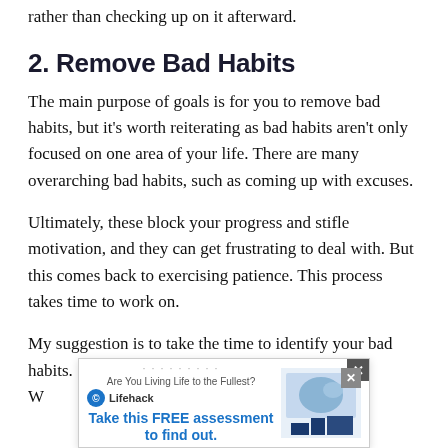rather than checking up on it afterward.
2. Remove Bad Habits
The main purpose of goals is for you to remove bad habits, but it's worth reiterating as bad habits aren't only focused on one area of your life. There are many overarching bad habits, such as coming up with excuses.
Ultimately, these block your progress and stifle motivation, and they can get frustrating to deal with. But this comes back to exercising patience. This process takes time to work on.
My suggestion is to take the time to identify your bad habits. [ad overlay] bad for you? W[...] move
[Figure (infographic): Lifehack advertisement overlay: 'Are You Living Life to the Fullest? Take this FREE assessment to find out.' with Lifehack logo and an image of a map/assessment graphic. Has an X close button.]